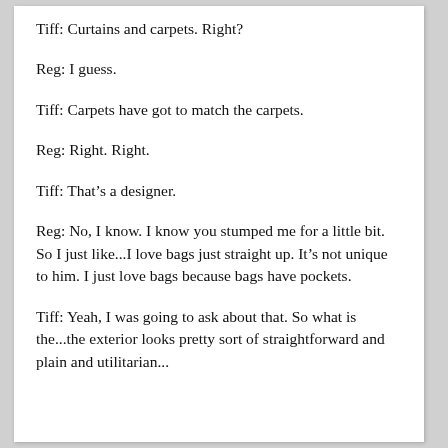Tiff: Curtains and carpets. Right?
Reg: I guess.
Tiff: Carpets have got to match the carpets.
Reg: Right. Right.
Tiff: That's a designer.
Reg: No, I know. I know you stumped me for a little bit. So I just like...I love bags just straight up. It's not unique to him. I just love bags because bags have pockets.
Tiff: Yeah, I was going to ask about that. So what is the...the exterior looks pretty sort of straightforward and plain and utilitarian...